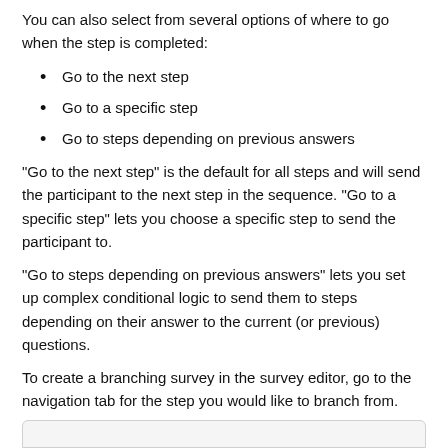You can also select from several options of where to go when the step is completed:
Go to the next step
Go to a specific step
Go to steps depending on previous answers
“Go to the next step” is the default for all steps and will send the participant to the next step in the sequence. “Go to a specific step” lets you choose a specific step to send the participant to.
“Go to steps depending on previous answers” lets you set up complex conditional logic to send them to steps depending on their answer to the current (or previous) questions.
To create a branching survey in the survey editor, go to the navigation tab for the step you would like to branch from.
[Figure (screenshot): Bottom portion of a UI screenshot, partially visible at the bottom of the page]